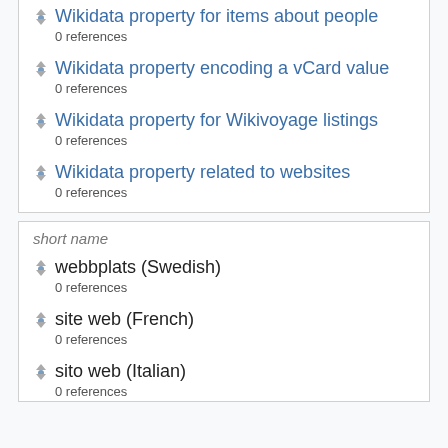Wikidata property for items about people
0 references
Wikidata property encoding a vCard value
0 references
Wikidata property for Wikivoyage listings
0 references
Wikidata property related to websites
0 references
short name
webbplats (Swedish)
0 references
site web (French)
0 references
sito web (Italian)
0 references